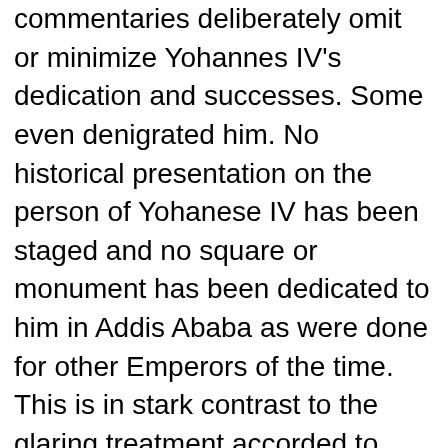commentaries deliberately omit or minimize Yohannes IV's dedication and successes. Some even denigrated him. No historical presentation on the person of Yohanese IV has been staged and no square or monument has been dedicated to him in Addis Ababa as were done for other Emperors of the time. This is in stark contrast to the glaring treatment accorded to Emmye Menelik II regardless of his many weaknesses, conspiracies, treasons, giving Eritrea and other areas to Italian invading forces, etc. referred to above in this writing.